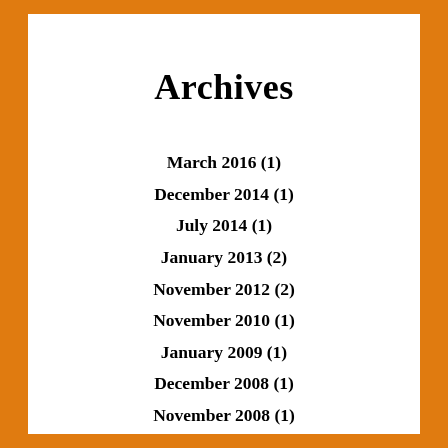Archives
March 2016 (1)
December 2014 (1)
July 2014 (1)
January 2013 (2)
November 2012 (2)
November 2010 (1)
January 2009 (1)
December 2008 (1)
November 2008 (1)